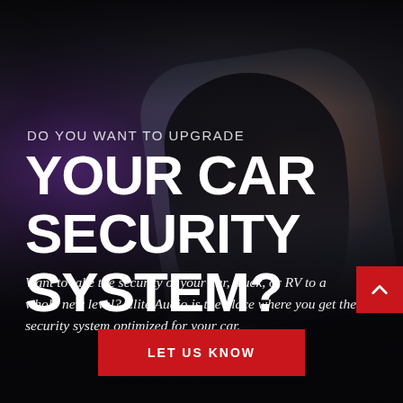[Figure (photo): Dark background scene showing a burglar/thief figure in black clothing breaking into a car at night, with a flashlight glow visible, purple lens flare on left, dark moody atmosphere]
DO YOU WANT TO UPGRADE
YOUR CAR SECURITY SYSTEM?
Want to take the security of your car, truck, or RV to a whole new level? Elite Audio is the place where you get the security system optimized for your car.
LET US KNOW